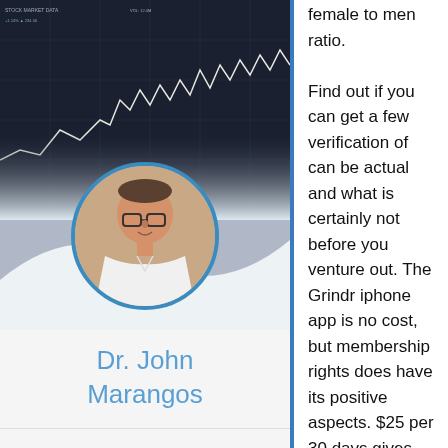[Figure (photo): Stock chart background with financial data, overlaid with a circular portrait photo of Dr. John Marangos, a man wearing glasses and a white shirt]
Dr. John Marangos
ABOUT
EDUCATIONAL QUALIFICATIONS
female to men ratio.

Find out if you can get a few verification of can be actual and what is certainly not before you venture out. The Grindr iphone app is no cost, but membership rights does have its positive aspects. $25 per 30 days gives you reams of Grindr